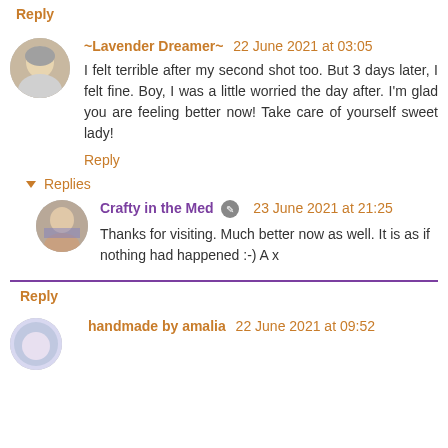Reply
~Lavender Dreamer~ 22 June 2021 at 03:05
I felt terrible after my second shot too. But 3 days later, I felt fine. Boy, I was a little worried the day after. I'm glad you are feeling better now! Take care of yourself sweet lady!
Reply
▼ Replies
Crafty in the Med 23 June 2021 at 21:25
Thanks for visiting. Much better now as well. It is as if nothing had happened :-) A x
Reply
handmade by amalia 22 June 2021 at 09:52